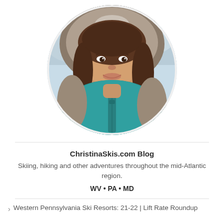[Figure (photo): Circular profile photo of a woman smiling, wearing a teal/turquoise winter jacket with fur-trimmed hood, in a snowy outdoor setting.]
ChristinaSkis.com Blog
Skiing, hiking and other adventures throughout the mid-Atlantic region.
WV • PA • MD
Western Pennsylvania Ski Resorts: 21-22 | Lift Rate Roundup